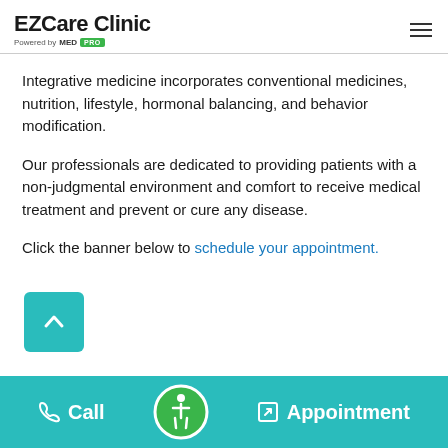EZCare Clinic — Powered by MED
Integrative medicine incorporates conventional medicines, nutrition, lifestyle, hormonal balancing, and behavior modification.
Our professionals are dedicated to providing patients with a non-judgmental environment and comfort to receive medical treatment and prevent or cure any disease.
Click the banner below to schedule your appointment.
[Figure (other): Teal scroll-to-top button with upward chevron arrow]
Call | Accessibility icon | Appointment